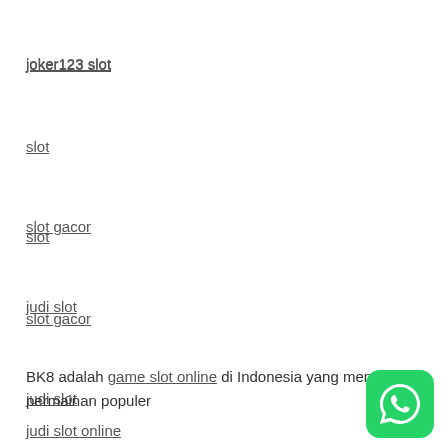joker123 slot
slot
slot gacor
judi slot
BK8 adalah game slot online di Indonesia yang memiliki permainan populer
judi slot online
[Figure (logo): WhatsApp green rounded square logo icon]